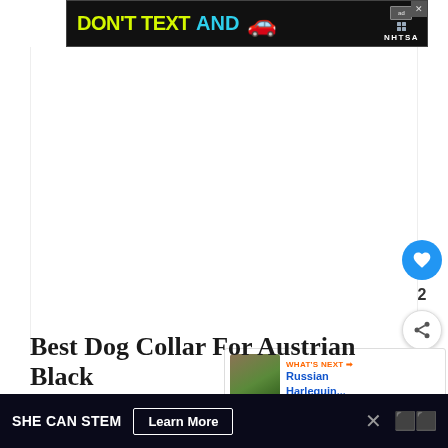[Figure (advertisement): Banner advertisement: 'DON'T TEXT AND [car emoji]' with NHTSA logo on black background]
[Figure (other): White blank content area (article image placeholder)]
[Figure (other): Heart/like button (blue circle, count: 2) and share button on right side]
[Figure (other): What's Next card with thumbnail: 'Russian Harlequin...']
Best Dog Collar For Austrian Black
[Figure (advertisement): Bottom ad bar: SHE CAN STEM with Learn More button, dark background]